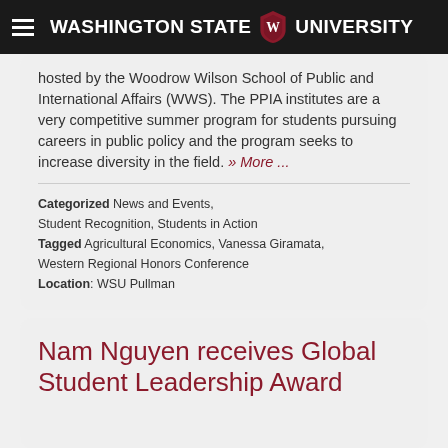Washington State University
hosted by the Woodrow Wilson School of Public and International Affairs (WWS). The PPIA institutes are a very competitive summer program for students pursuing careers in public policy and the program seeks to increase diversity in the field. » More ...
Categorized News and Events, Student Recognition, Students in Action Tagged Agricultural Economics, Vanessa Giramata, Western Regional Honors Conference Location: WSU Pullman
Nam Nguyen receives Global Student Leadership Award